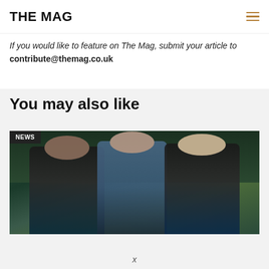THE MAG
If you would like to feature on The Mag, submit your article to contribute@themag.co.uk
You may also like
[Figure (photo): Three Newcastle United players (Lascelles, Eddie Howe and Matt Ritchie) running during a training session, wearing black and blue Castore training gear. A NEWS badge is overlaid in the top-left corner.]